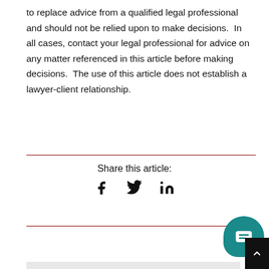to replace advice from a qualified legal professional and should not be relied upon to make decisions.  In all cases, contact your legal professional for advice on any matter referenced in this article before making decisions.  The use of this article does not establish a lawyer-client relationship.
Share this article:
[Figure (other): Social sharing icons: Facebook (f), Twitter (bird), LinkedIn (in)]
[Figure (other): Teal chat button widget in bottom-right corner with message icon, and dark scroll-to-top button]